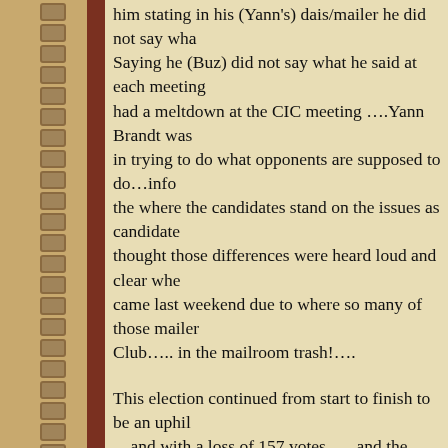him stating in his (Yann's) dais/mailer he did not say wha... Saying he (Buz) did not say what he said at each meeting...had a meltdown at the CIC meeting ….Yann Brandt was in trying to do what opponents are supposed to do…info the where the candidates stand on the issues as candidate thought those differences were heard loud and clear whe came last weekend due to where so many of those mailer Club….. in the mailroom trash!….
This election continued from start to finish to be an uphi …and with a loss of 157 votes …. and the biggest comin north …Buz Oldaker won with 54%…. certainly not a m larger and much more impactful than we've seen since 2 opinion….there is still a big divide in our town…. and di In fact…we may need to further address the way we vote south end of LBTS vote for their 2 commissioners and th 2 commissioners retaining a town-wide vote for the may governing in the next 2-4 years…..We are not one town for and how we pay for it….or who we vote for and why just like they did in 2006….and keep a sharp eye on wh